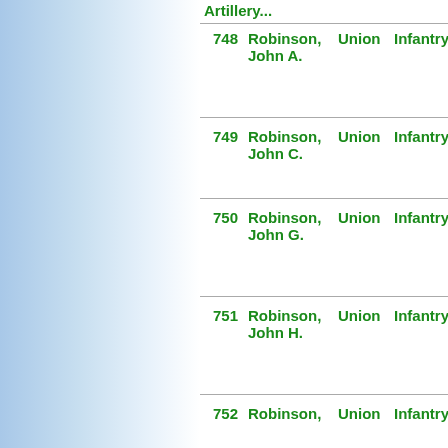| # | Name | Side | Branch | Unit |
| --- | --- | --- | --- | --- |
| 748 | Robinson, John A. | Union | Infantry | 14th Reg United States Colored Infantry |
| 749 | Robinson, John C. | Union | Infantry | 4th Reg United States Colored Infantry |
| 750 | Robinson, John G. | Union | Infantry | 41st Reg United States Colored Infantry |
| 751 | Robinson, John H. | Union | Infantry | 23rd Reg United States Colored Infantry |
| 752 | Robinson, John [H.] | Union | Infantry | Unassigned... |